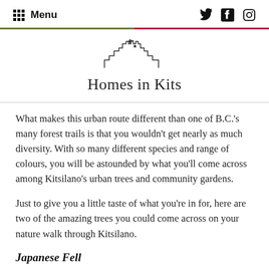Menu
[Figure (logo): Homes in Kits logo with stylized cityscape skyline outline above the text]
What makes this urban route different than one of B.C.'s many forest trails is that you wouldn't get nearly as much diversity. With so many different species and range of colours, you will be astounded by what you'll come across among Kitsilano's urban trees and community gardens.
Just to give you a little taste of what you're in for, here are two of the amazing trees you could come across on your nature walk through Kitsilano.
Japanese Foll...